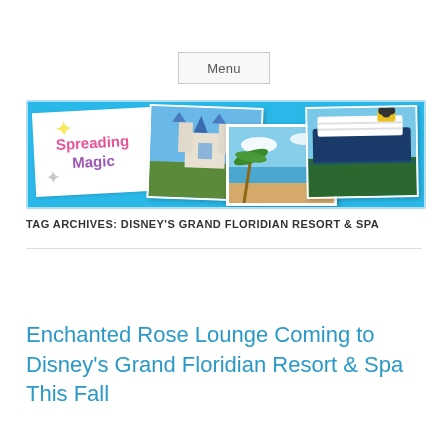Menu
[Figure (illustration): Spreading Magic website banner with logo card, Disney castle photo, beach photo, and Disney cruise ship photo on a light blue background]
TAG ARCHIVES: DISNEY'S GRAND FLORIDIAN RESORT & SPA
Enchanted Rose Lounge Coming to Disney's Grand Floridian Resort & Spa This Fall